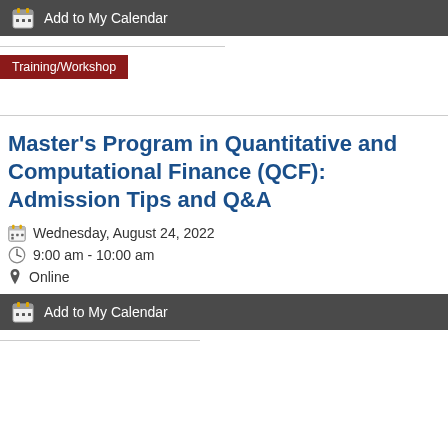Add to My Calendar
Training/Workshop
Master's Program in Quantitative and Computational Finance (QCF): Admission Tips and Q&A
Wednesday, August 24, 2022
9:00 am - 10:00 am
Online
Add to My Calendar